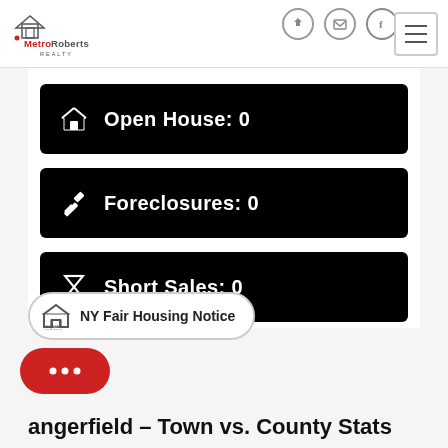[Figure (logo): MetroRoberts Realty logo with house icon and red text]
Open House: 0
Foreclosures: 0
Short Sales: 0
NY Fair Housing Notice
angerfield – Town vs. County Stats